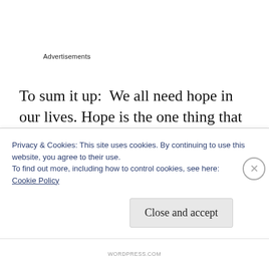Advertisements
To sum it up:  We all need hope in our lives. Hope is the one thing that pulls us through when nothing else can. The world can be a very dark place. When we are writing our stories and sculpting both the narrative and the character arcs, hope is an important element of the
Privacy & Cookies: This site uses cookies. By continuing to use this website, you agree to their use.
To find out more, including how to control cookies, see here:
Cookie Policy
Close and accept
WORDPRESS.COM